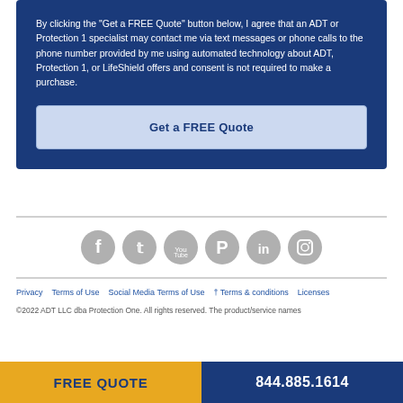By clicking the "Get a FREE Quote" button below, I agree that an ADT or Protection 1 specialist may contact me via text messages or phone calls to the phone number provided by me using automated technology about ADT, Protection 1, or LifeShield offers and consent is not required to make a purchase.
Get a FREE Quote
[Figure (infographic): Row of six gray social media icons: Facebook, Twitter, YouTube, Pinterest, LinkedIn, Instagram]
Privacy   Terms of Use   Social Media Terms of Use   † Terms & conditions   Licenses
©2022 ADT LLC dba Protection One. All rights reserved. The product/service names
FREE QUOTE
844.885.1614